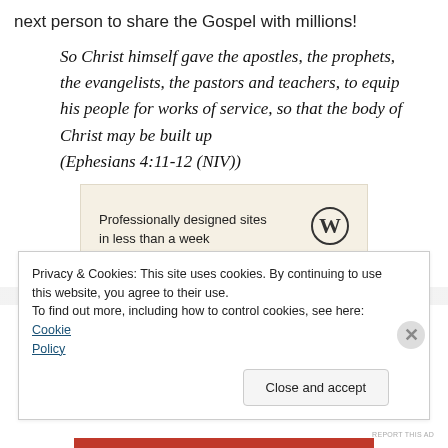next person to share the Gospel with millions!
So Christ himself gave the apostles, the prophets, the evangelists, the pastors and teachers, to equip his people for works of service, so that the body of Christ may be built up (Ephesians 4:11-12 (NIV))
[Figure (other): WordPress advertisement banner: 'Professionally designed sites in less than a week' with WordPress logo]
REPORT THIS AD
Privacy & Cookies: This site uses cookies. By continuing to use this website, you agree to their use.
To find out more, including how to control cookies, see here: Cookie Policy
Close and accept